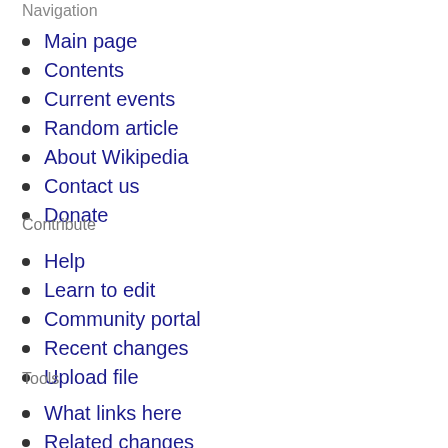Navigation
Main page
Contents
Current events
Random article
About Wikipedia
Contact us
Donate
Contribute
Help
Learn to edit
Community portal
Recent changes
Upload file
Tools
What links here
Related changes